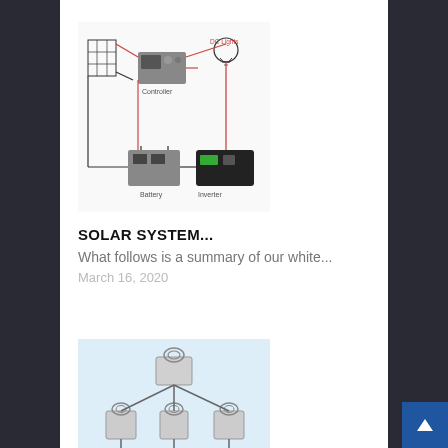[Figure (schematic): Solar system wiring diagram showing solar panel, controller, battery, inverter, and light bulb connected with red and black wires]
SOLAR SYSTEM...
What follows is a summary of our white...
March 16, 2020
[Figure (engineering-diagram): Electrical diagram showing a network of electrical transformers/generators connected by lines, with blue components at bottom]
TYPES OF ELECTRICAL...
Before I introduce you the theory of...
March 14, 2020